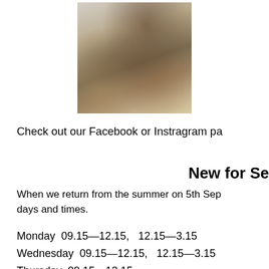[Figure (photo): A glass jar containing layered mixture of soil, seeds, and plant material]
Check out our Facebook or Instragram pa
New for Se
When we return from the summer on 5th Sep days and times.
Monday  09.15—12.15,   12.15—3.15
Wednesday  09.15—12.15,   12.15—3.15
Thursday  09.15—12.15